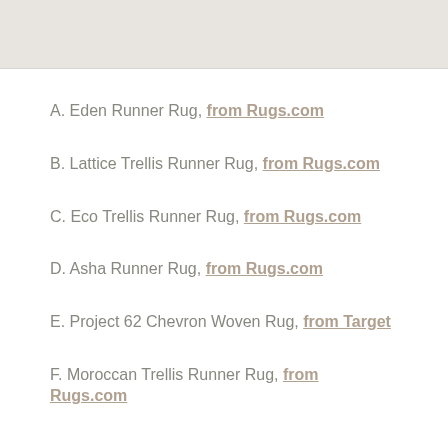[Figure (other): Gray/beige image area at top of page]
A. Eden Runner Rug, from Rugs.com
B. Lattice Trellis Runner Rug, from Rugs.com
C. Eco Trellis Runner Rug, from Rugs.com
D. Asha Runner Rug, from Rugs.com
E. Project 62 Chevron Woven Rug, from Target
F. Moroccan Trellis Runner Rug, from Rugs.com